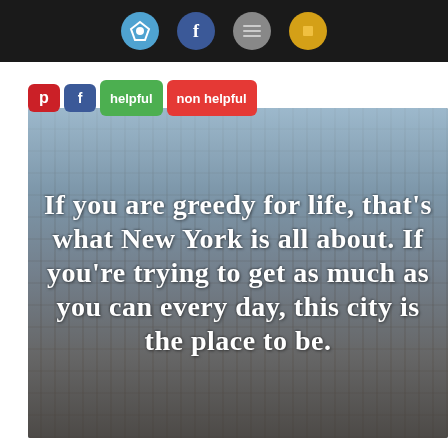[Figure (screenshot): Dark top bar with app icons (blue circular icon, Facebook icon, gray icon, yellow icon) on a dark background]
[Figure (photo): Aerial photo of New York City skyline with overlaid white bold text quote: 'If you are greedy for life, that's what New York is all about. If you're trying to get as much as you can every day, this city is the place to be.' Social sharing buttons (Pinterest, Facebook, helpful, non helpful) overlaid at top-left.]